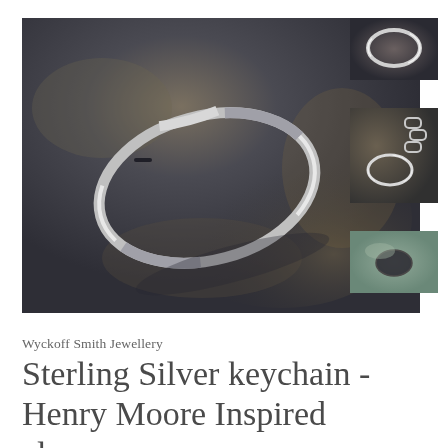[Figure (photo): Large main product photo: sterling silver oval/teardrop shaped keychain clasp lying on a dark grey stone surface]
[Figure (photo): Thumbnail 1: close-up of the silver oval ring on dark background]
[Figure (photo): Thumbnail 2: silver chain with oval clasp and links on stone surface]
[Figure (photo): Thumbnail 3: oval shaped hollow in pale blue/green ceramic or stone]
Wyckoff Smith Jewellery
Sterling Silver keychain - Henry Moore Inspired clasp